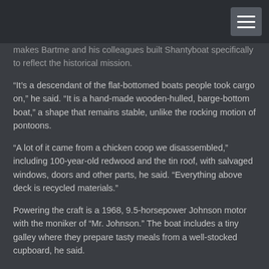makes Bartme and his colleagues built Shantyboat specifically to reflect the historical mission.
“It’s a descendant of the flat-bottomed boats people took cargo on,” he said. “It is a hand-made wooden-hulled, barge-bottom boat,” a shape that remains stable, unlike the rocking motion of pontoons.
“A lot of it came from a chicken coop we disassembled,” including 100-year-old redwood and the tin roof, with salvaged windows, doors and other parts, he said. “Everything above deck is recycled materials.”
Powering the craft is a 1968, 9.5-horsepower Johnson motor with the moniker of “Mr. Johnson.” The boat includes a tiny galley where they prepare tasty meals from a well-stocked cupboard, he said.
The journey is funded in part with $5,417 raised from